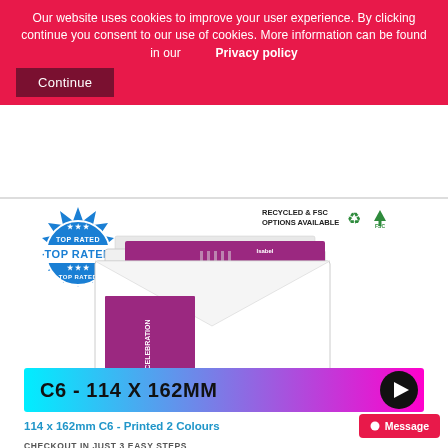Our website uses cookies to improve your user experience. By clicking continue you consent to our use of cookies. More information can be found in our Privacy policy
Continue
[Figure (illustration): Top Rated blue badge/seal stamp]
[Figure (illustration): Recycled and FSC options available icons]
[Figure (photo): White C6 envelope with printed purple/magenta insert card showing 'IN CELEBRATION' text]
[Figure (infographic): Cyan to magenta gradient bar with text 'C6 - 114 X 162MM' and black play button icon]
114 x 162mm C6 - Printed 2 Colours
Message
CHECKOUT IN JUST 3 EASY STEPS